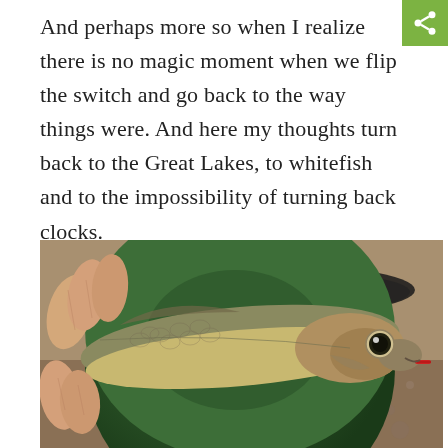And perhaps more so when I realize there is no magic moment when we flip the switch and go back to the way things were. And here my thoughts turn back to the Great Lakes, to whitefish and to the impossibility of turning back clocks.
[Figure (photo): A hand holding a small whitefish (or similar small fish) up close to the camera, showing its scales, eye with a red lure hook near its mouth, with a green bucket and sandy/rocky background.]